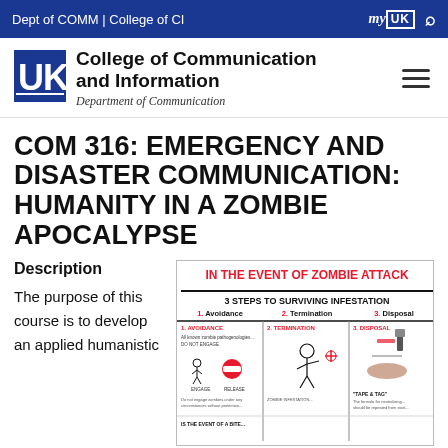Dept of COMM | College of CI
[Figure (logo): University of Kentucky logo - blue block letters UK]
College of Communication and Information — Department of Communication
COM 316: EMERGENCY AND DISASTER COMMUNICATION: HUMANITY IN A ZOMBIE APOCALYPSE
Description
The purpose of this course is to develop an applied humanistic
[Figure (infographic): Zombie attack survival infographic titled 'IN THE EVENT OF ZOMBIE ATTACK' with 3 steps to surviving infestation: 1. Avoidance, 2. Termination, 3. Disposal. Shows panels with illustrations for each step.]